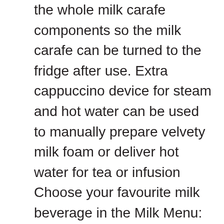the whole milk carafe components so the milk carafe can be turned to the fridge after use. Extra cappuccino device for steam and hot water can be used to manually prepare velvety milk foam or deliver hot water for tea or infusion Choose your favourite milk beverage in the Milk Menu: hot milk, flat white, espresso macchiato and My Milk tailor your perfect drink. Intuitive sensor metal touch control panel with two text lines display and 16 languages for using the machine in a clear and simple way Long Coffee button for Drip coffee lovers Personalising coffee as often as you want has never been easier. Choose from short, medium or long, try a strong or extra mild aroma, enjoy it piping hot, medium or low temperature. The machine can be used with either coffee beans or ground coffee Prepare two cups of coffee with a single brewing cycle Active cup warmer for cups always at the right temperature Removable brewing unit for easy cleaning and maintenance. Programmable automatic shut-off and